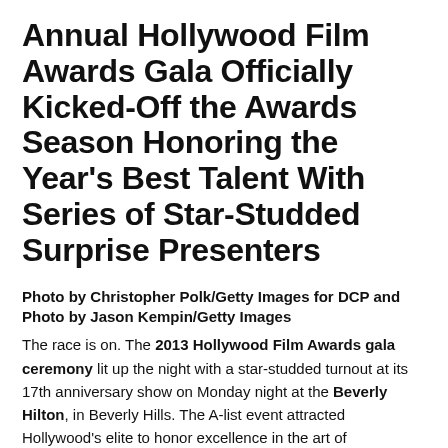Annual Hollywood Film Awards Gala Officially Kicked-Off the Awards Season Honoring the Year's Best Talent With Series of Star-Studded Surprise Presenters
Photo by Christopher Polk/Getty Images for DCP and Photo by Jason Kempin/Getty Images
The race is on. The 2013 Hollywood Film Awards gala ceremony lit up the night with a star-studded turnout at its 17th anniversary show on Monday night at the Beverly Hilton, in Beverly Hills. The A-list event attracted Hollywood's elite to honor excellence in the art of filmmaking, as well as creative talent within the global